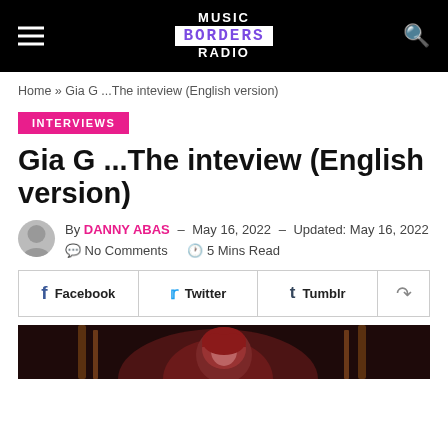MUSIC BORDERS RADIO
Home » Gia G ...The inteview (English version)
INTERVIEWS
Gia G ...The inteview (English version)
By DANNY ABAS – May 16, 2022 – Updated: May 16, 2022  No Comments  5 Mins Read
[Figure (other): Social share buttons: Facebook, Twitter, Tumblr, and a share/more icon]
[Figure (photo): Partial photo of a person with red hair against a dark background, cut off at the bottom of the page]